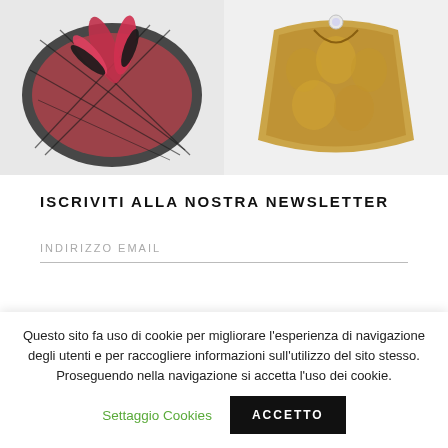[Figure (photo): Two fashion accessory photos side by side: left shows a red and black fascinator hat with feathers and mesh; right shows a golden/brown fur-textured clutch bag with jewel embellishment.]
ISCRIVITI ALLA NOSTRA NEWSLETTER
INDIRIZZO EMAIL
Questo sito fa uso di cookie per migliorare l'esperienza di navigazione degli utenti e per raccogliere informazioni sull'utilizzo del sito stesso. Proseguendo nella navigazione si accetta l'uso dei cookie.
Settaggio Cookies
ACCETTO